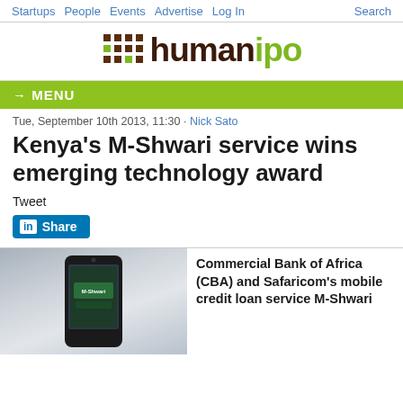Startups  People  Events  Advertise  Log In  Search
[Figure (logo): HumanIPO logo with brown hash/grid icon and text 'humanipo' where 'human' is dark brown and 'ipo' is green]
→ MENU
Tue, September 10th 2013, 11:30 · Nick Sato
Kenya's M-Shwari service wins emerging technology award
Tweet
[Figure (screenshot): LinkedIn Share button]
[Figure (photo): A mobile phone/hotspot device displaying M-Shwari branding on screen, on a light gray background]
Commercial Bank of Africa (CBA) and Safaricom's mobile credit loan service M-Shwari